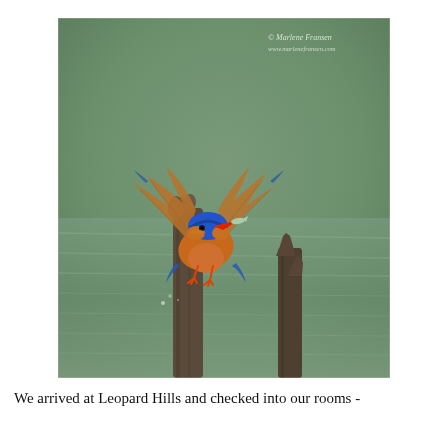[Figure (photo): A malachite kingfisher with wings spread wide, landing on a weathered wooden post above water. The bird has vivid blue plumage on its head, orange-rufous body, red bill holding a small fish, and red-orange feet. Two dark, dead tree stumps rise from a green-tinted body of water in the background. A watermark reading '© Marlene Fransen www.marlenefransen.com' is visible in the upper right of the image.]
We arrived at Leopard Hills and checked into our rooms -